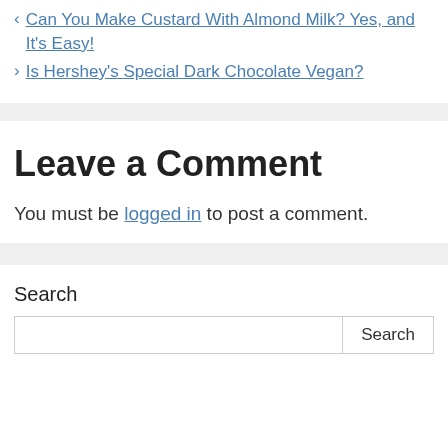< Can You Make Custard With Almond Milk? Yes, and It's Easy!
> Is Hershey's Special Dark Chocolate Vegan?
Leave a Comment
You must be logged in to post a comment.
Search
Search